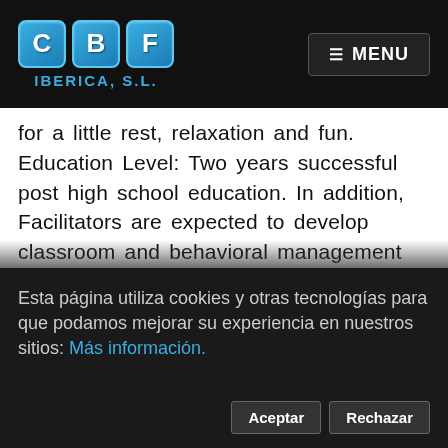[Figure (logo): CBF Iberica S.L. logo with three blue square tiles containing letters C, B, F and company name below]
☰ MENU
for a little rest, relaxation and fun. Education Level: Two years successful post high school education. In addition, Facilitators are expected to develop classroom and behavioral management skills, implement professionally developed literacy-based curriculum, and develop relationships with children and their families. • Enthusiastically facilitate the preparation of the required recipe and deliver the nutrition message associated with said recipe. Has the functional and technical knowledge A Facilitator assists in activities or
Esta página utiliza cookies y otras tecnologías para que podamos mejorar su experiencia en nuestros sitios: Más información.
Aceptar
Rechazar